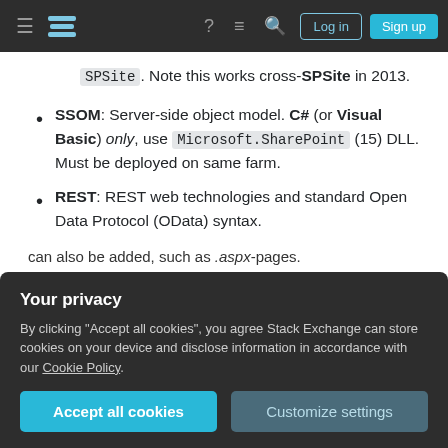Stack Exchange navigation bar with Log in and Sign up buttons
SPSite . Note this works cross-SPSite in 2013.
SSOM: Server-side object model. C# (or Visual Basic) only, use Microsoft.SharePoint (15) DLL. Must be deployed on same farm.
REST: REST web technologies and standard Open Data Protocol (OData) syntax.
Either JS (JavaScript) or C# (or Visual Basic) helper package in NuGet.
Your privacy
By clicking "Accept all cookies", you agree Stack Exchange can store cookies on your device and disclose information in accordance with our Cookie Policy.
can also be added, such as .aspx-pages.